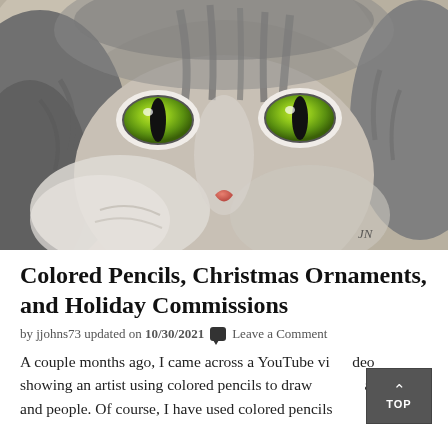[Figure (photo): Close-up illustration/drawing of a gray tabby cat face with bright green eyes and a pink nose, rendered in colored pencils. The cat has gray striped fur and white areas around the cheeks and mouth. Artist initials 'JN' appear in lower right area of the image.]
Colored Pencils, Christmas Ornaments, and Holiday Commissions
by jjohns73 updated on 10/30/2021 💬 Leave a Comment
A couple months ago, I came across a YouTube video showing an artist using colored pencils to draw animals and people. Of course, I have used colored pencils